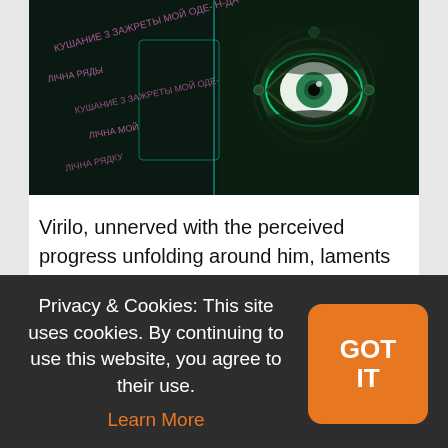[Figure (illustration): Animated/illustrated image showing a stylized robotic or cyberpunk face with a large eye, surrounded by dark green tones and pink/purple text overlays in the background.]
Virilo, unnerved with the perceived progress unfolding around him, laments that “human vision is being confiscated by technologies in which man is controlled by the machine” (93). Most of Virilio’s
Privacy & Cookies: This site uses cookies. By continuing to use this website, you agree to their use. Learn More